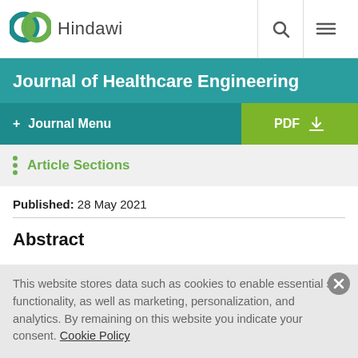[Figure (logo): Hindawi publisher logo with interlinked circles in teal and green, followed by 'Hindawi' text]
Journal of Healthcare Engineering
+ Journal Menu
Article Sections
Published: 28 May 2021
Abstract
This website stores data such as cookies to enable essential site functionality, as well as marketing, personalization, and analytics. By remaining on this website you indicate your consent. Cookie Policy